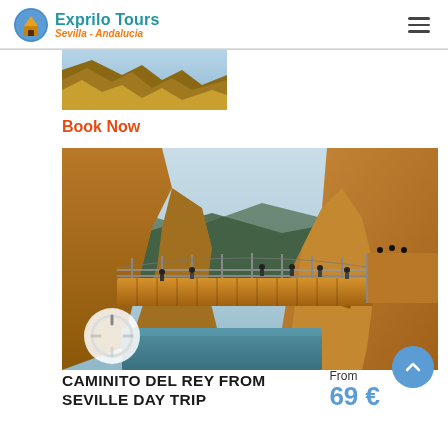[Figure (logo): Exprilo Tours logo with circular building icon, blue text 'Exprilo Tours' and orange italic text 'Sevilla - Andalucia']
[Figure (illustration): Hamburger menu icon (three horizontal lines)]
[Figure (photo): Small thumbnail photo of rocky cliff landscape]
Book Now
[Figure (photo): Main photo of Caminito del Rey wooden boardwalk bridge over a canyon gorge with turquoise river below and rocky mountains, people walking on the bridge]
CAMINITO DEL REY FROM SEVILLE DAY TRIP
From
69 €